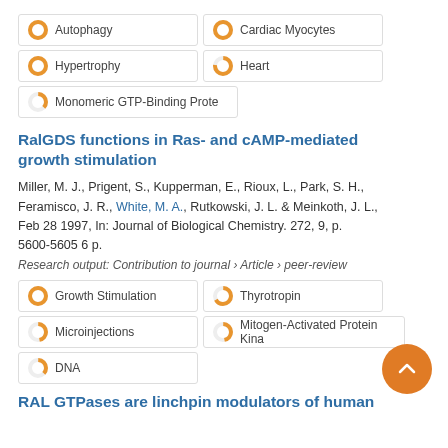Autophagy 100%
Cardiac Myocytes 100%
Hypertrophy 100%
Heart 77%
Monomeric GTP-Binding Prote 37%
RalGDS functions in Ras- and cAMP-mediated growth stimulation
Miller, M. J., Prigent, S., Kupperman, E., Rioux, L., Park, S. H., Feramisco, J. R., White, M. A., Rutkowski, J. L. & Meinkoth, J. L., Feb 28 1997, In: Journal of Biological Chemistry. 272, 9, p. 5600-5605 6 p.
Research output: Contribution to journal › Article › peer-review
Growth Stimulation 100%
Thyrotropin 67%
Microinjections 47%
Mitogen-Activated Protein Kina 47%
DNA 37%
RAL GTPases are linchpin modulators of human